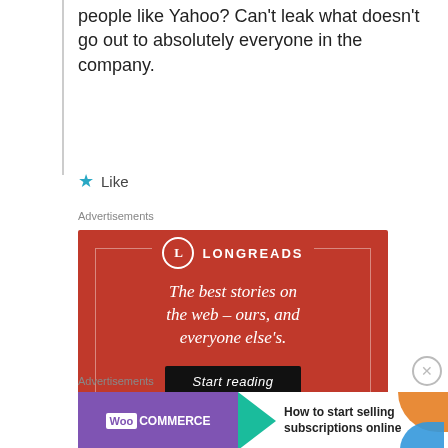people like Yahoo? Can't leak what doesn't go out to absolutely everyone in the company.
Like
Advertisements
[Figure (infographic): Longreads advertisement on red background with logo, tagline 'The best stories on the web – ours, and everyone else's.' and 'Start reading' button]
Advertisements
[Figure (infographic): WooCommerce advertisement: 'How to start selling subscriptions online' with purple WooCommerce logo and teal arrow shape]